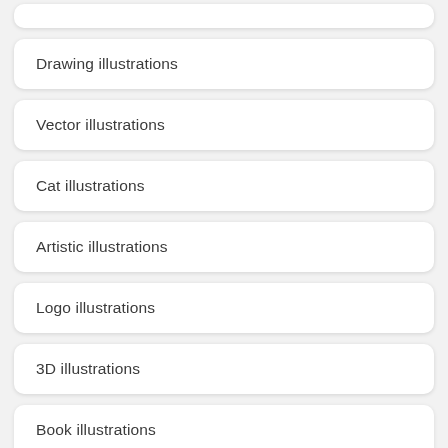Drawing illustrations
Vector illustrations
Cat illustrations
Artistic illustrations
Logo illustrations
3D illustrations
Book illustrations